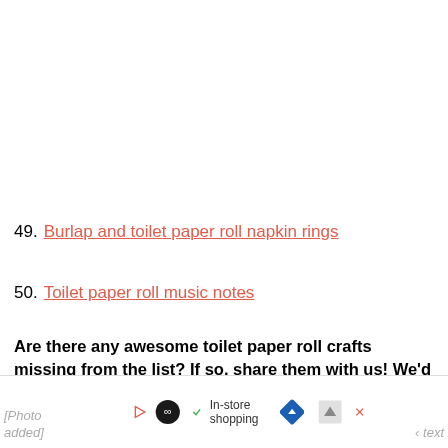49. Burlap and toilet paper roll napkin rings
50. Toilet paper roll music notes
Are there any awesome toilet paper roll crafts missing from the list? If so, share them with us! We'd love to pin them to our Pinterest boards!
[Photo added] ✓ In-store shopping [navigation icons]